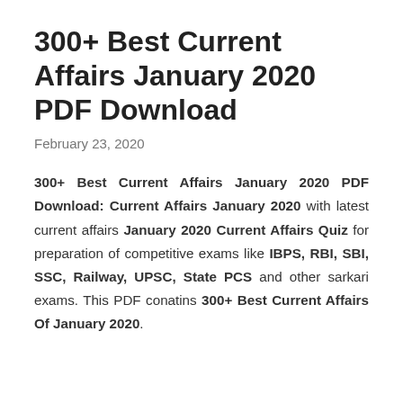300+ Best Current Affairs January 2020 PDF Download
February 23, 2020
300+ Best Current Affairs January 2020 PDF Download: Current Affairs January 2020 with latest current affairs January 2020 Current Affairs Quiz for preparation of competitive exams like IBPS, RBI, SBI, SSC, Railway, UPSC, State PCS and other sarkari exams. This PDF conatins 300+ Best Current Affairs Of January 2020.